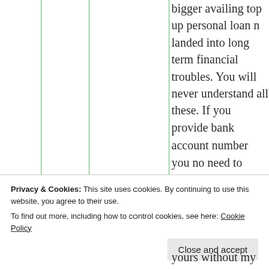bigger availing top up personal loan n landed into long term financial troubles. You will never understand all these. If you provide bank account number you no need to involve bank officials. I am telling now too their involvement is not necessary when I am one
Privacy & Cookies: This site uses cookies. By continuing to use this website, you agree to their use. To find out more, including how to control cookies, see here: Cookie Policy
yours without my